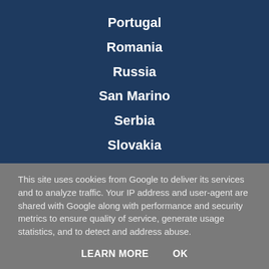Portugal
Romania
Russia
San Marino
Serbia
Slovakia
This site uses cookies from Google to deliver its services and to analyze traffic. Your IP address and user-agent are shared with Google along with performance and security metrics to ensure quality of service, generate usage statistics, and to detect and address abuse.
LEARN MORE    OK